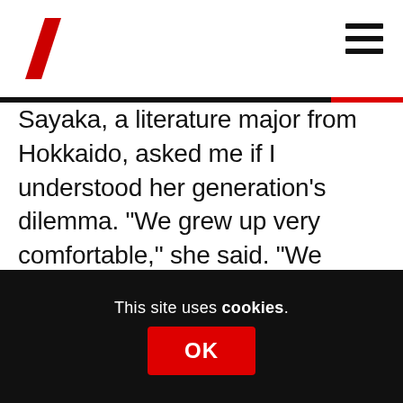Sayaka, a literature major from Hokkaido, asked me if I understood her generation’s dilemma. “We grew up very comfortable,” she said. “We learned not to take risks.” No risk-taking – anathema to today’s ‘fail-fast’, Silicon Valley culture – would seem to indicate stagnation writ large. But what if it’s a more futuristic model for all of us, even superior to Japan’s sleek, sci-fi bubble-era iconography: all hi-tech and flashy yen, but no soul?
This site uses cookies.
OK